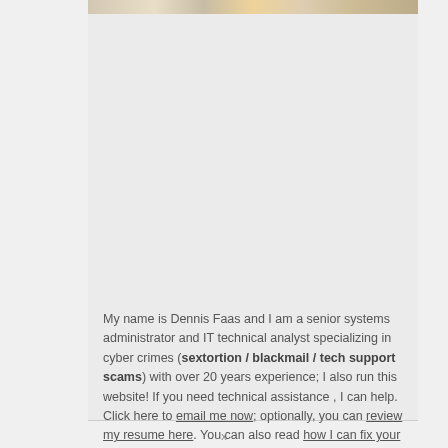[Figure (photo): A partial photo strip visible at the top of a card/sidebar element showing a person or persons, partially cropped]
My name is Dennis Faas and I am a senior systems administrator and IT technical analyst specializing in cyber crimes (sextortion / blackmail / tech support scams) with over 20 years experience; I also run this website! If you need technical assistance , I can help. Click here to email me now; optionally, you can review my resume here. You can also read how I can fix your computer over the Internet (also includes user reviews).